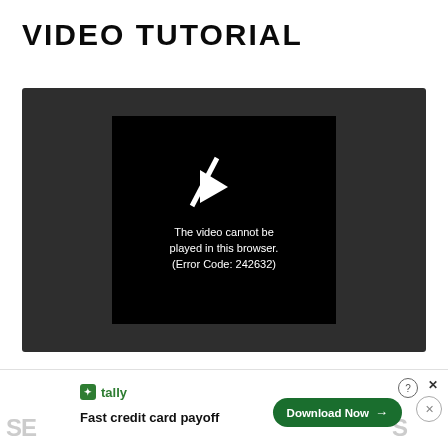VIDEO TUTORIAL
[Figure (screenshot): Video player showing an error message: 'The video cannot be played in this browser. (Error Code: 242632)' on a dark background with a play button with a slash icon]
[Figure (other): Advertisement bar for Tally app: 'Fast credit card payoff' with a 'Download Now' button]